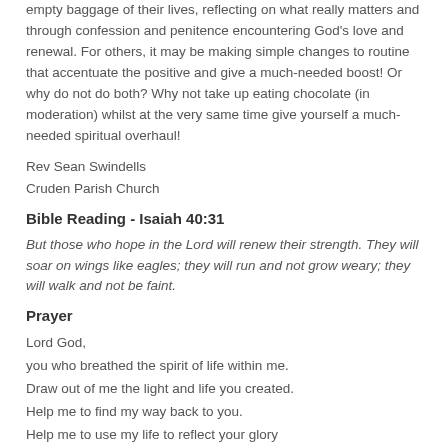empty baggage of their lives, reflecting on what really matters and through confession and penitence encountering God's love and renewal. For others, it may be making simple changes to routine that accentuate the positive and give a much-needed boost! Or why do not do both? Why not take up eating chocolate (in moderation) whilst at the very same time give yourself a much-needed spiritual overhaul!
Rev Sean Swindells
Cruden Parish Church
Bible Reading - Isaiah 40:31
But those who hope in the Lord will renew their strength. They will soar on wings like eagles; they will run and not grow weary; they will walk and not be faint.
Prayer
Lord God,
you who breathed the spirit of life within me.
Draw out of me the light and life you created.
Help me to find my way back to you.
Help me to use my life to reflect your glory
and to serve others